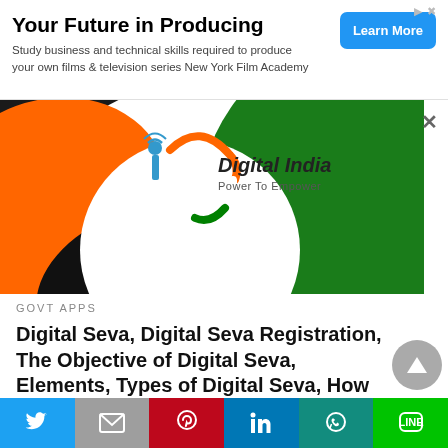[Figure (infographic): Advertisement banner: 'Your Future in Producing' with blue Learn More button. Study business and technical skills required to produce your own films & television series New York Film Academy]
[Figure (photo): Digital India logo and branding image showing the Digital India 'Power To Empower' logo on a circular background with saffron, white and green colors]
GOVT APPS
Digital Seva, Digital Seva Registration, The Objective of Digital Seva, Elements, Types of Digital Seva, How to Apply, Documents Required
[Figure (infographic): Social sharing bar with Twitter, Mail, Pinterest, LinkedIn, WhatsApp, and Line buttons]